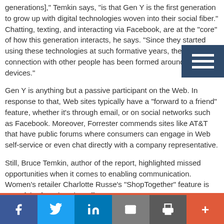generations]," Temkin says, "is that Gen Y is the first generation to grow up with digital technologies woven into their social fiber." Chatting, texting, and interacting via Facebook, are at the "core" of how this generation interacts, he says. "Since they started using these technologies at such formative years, their social connection with other people has been formed around digital devices."
Gen Y is anything but a passive participant on the Web. In response to that, Web sites typically have a "forward to a friend" feature, whether it's through email, or on social networks such as Facebook. Moreover, Forrester commends sites like AT&T that have public forums where consumers can engage in Web self-service or even chat directly with a company representative.
Still, Bruce Temkin, author of the report, highlighted missed opportunities when it comes to enabling communication. Women's retailer Charlotte Russe's "ShopTogether" feature is one of the few sites that offer
Social share bar: Facebook, Twitter, LinkedIn, Email, Print, More